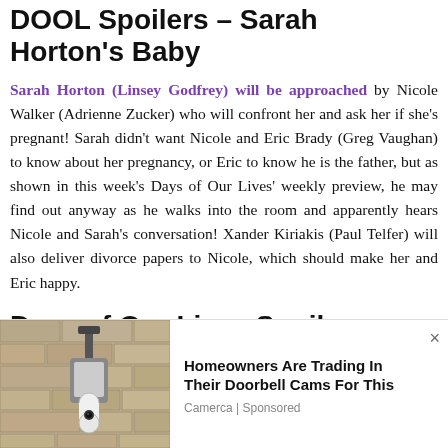DOOL Spoilers – Sarah Horton's Baby
Sarah Horton (Linsey Godfrey) will be approached by Nicole Walker (Adrienne Zucker) who will confront her and ask her if she's pregnant! Sarah didn't want Nicole and Eric Brady (Greg Vaughan) to know about her pregnancy, or Eric to know he is the father, but as shown in this week's Days of Our Lives' weekly preview, he may find out anyway as he walks into the room and apparently hears Nicole and Sarah's conversation! Xander Kiriakis (Paul Telfer) will also deliver divorce papers to Nicole, which should make her and Eric happy.
Days of Our Lives Spoilers – Vivian Alamain's Attempted Escape And Stefan DiMera's Death
[Figure (photo): Advertisement photo showing outdoor wall-mounted security camera/doorbell device on a stone wall, with ad overlay: 'Homeowners Are Trading In Their Doorbell Cams For This' by Camerca | Sponsored]